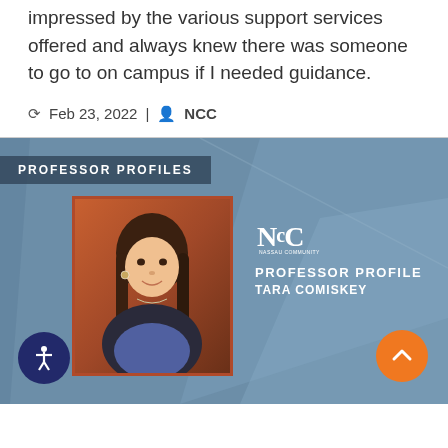impressed by the various support services offered and always knew there was someone to go to on campus if I needed guidance.
Feb 23, 2022 | NCC
[Figure (infographic): Professor Profiles section with photo of Tara Comiskey, NCC logo, and text 'PROFESSOR PROFILE TARA COMISKEY' on a blue-grey background with decorative diagonal shapes, orange scroll-up button, and accessibility icon.]